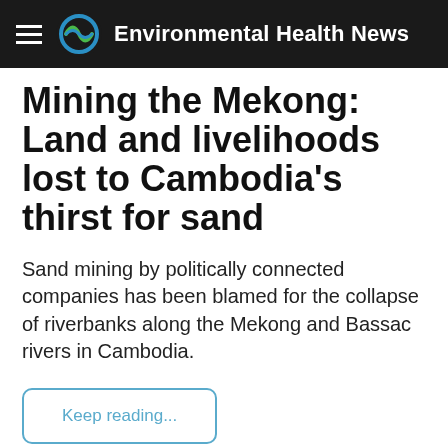Environmental Health News
Mining the Mekong: Land and livelihoods lost to Cambodia's thirst for sand
Sand mining by politically connected companies has been blamed for the collapse of riverbanks along the Mekong and Bassac rivers in Cambodia.
Keep reading...
news.mongabay.com